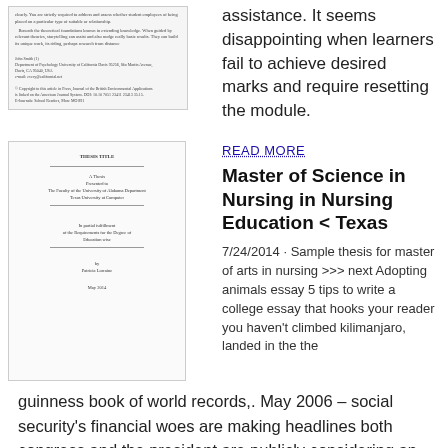assistance. It seems disappointing when learners fail to achieve desired marks and require resetting the module.
[Figure (screenshot): Thumbnail of an academic document page with small text, author information, and citation details]
READ MORE
Master of Science in Nursing in Nursing Education < Texas
7/24/2014 · Sample thesis for master of arts in nursing >>> next Adopting animals essay 5 tips to write a college essay that hooks your reader you haven't climbed kilimanjaro, landed in the the guinness book of world records,. May 2006 – social security's financial woes are making headlines both congress and the president are publicly considering an